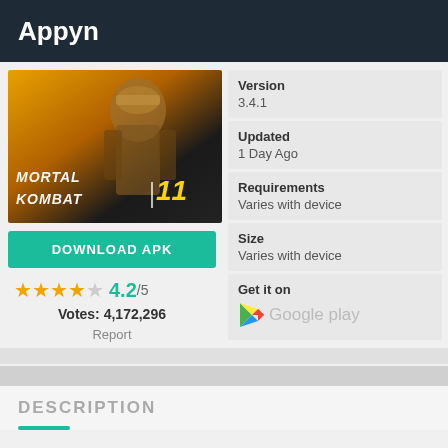Appyn
[Figure (screenshot): Mortal Kombat 11 game cover art with character in armor on yellow/dark background]
DOWNLOAD APK
4.2/5
Votes: 4,172,296
Report
| Version | 3.4.1 |
| Updated | 1 Day Ago |
| Requirements | Varies with device |
| Size | Varies with device |
Get it on
Google play
DESCRIPTION